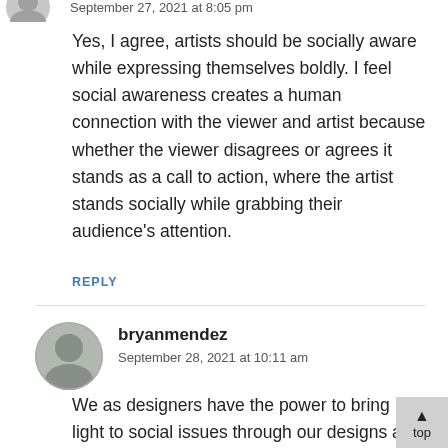September 27, 2021 at 8:05 pm
Yes, I agree, artists should be socially aware while expressing themselves boldly. I feel social awareness creates a human connection with the viewer and artist because whether the viewer disagrees or agrees it stands as a call to action, where the artist stands socially while grabbing their audience's attention.
REPLY
bryanmendez
September 28, 2021 at 10:11 am
We as designers have the power to bring light to social issues through our designs and being socially aware is just one step in that.